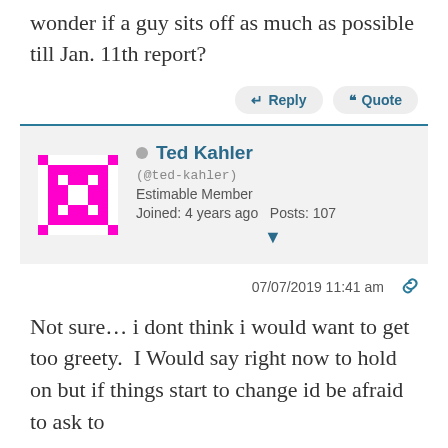wonder if a guy sits off as much as possible till Jan. 11th report?
Reply   Quote
Ted Kahler (@ted-kahler) Estimable Member Joined: 4 years ago  Posts: 107
07/07/2019 11:41 am
Not sure… i dont think i would want to get too greety.  I Would say right now to hold on but if things start to change id be afraid to ask to